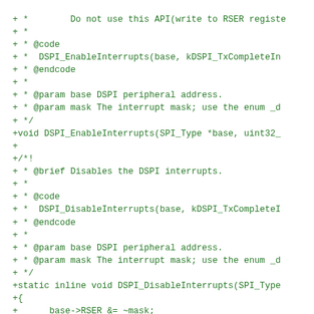+ *        Do not use this API(write to RSER registe
+ *
+ * @code
+ *  DSPI_EnableInterrupts(base, kDSPI_TxCompleteIn
+ * @endcode
+ *
+ * @param base DSPI peripheral address.
+ * @param mask The interrupt mask; use the enum _d
+ */
+void DSPI_EnableInterrupts(SPI_Type *base, uint32_
+
+/*!
+ * @brief Disables the DSPI interrupts.
+ *
+ * @code
+ *  DSPI_DisableInterrupts(base, kDSPI_TxCompleteI
+ * @endcode
+ *
+ * @param base DSPI peripheral address.
+ * @param mask The interrupt mask; use the enum _d
+ */
+static inline void DSPI_DisableInterrupts(SPI_Type
+{
+      base->RSER &= ~mask;
+}
+
+/*!
+ *@}
+*/
+